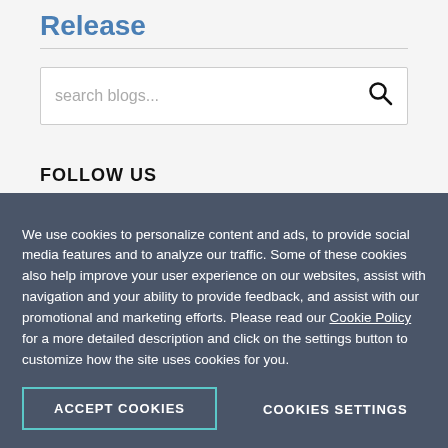Release
search blogs...
FOLLOW US
[Figure (other): Row of social media icon buttons: Facebook, Twitter, LinkedIn, GitHub, RSS, Twitch]
We use cookies to personalize content and ads, to provide social media features and to analyze our traffic. Some of these cookies also help improve your user experience on our websites, assist with navigation and your ability to provide feedback, and assist with our promotional and marketing efforts. Please read our Cookie Policy for a more detailed description and click on the settings button to customize how the site uses cookies for you.
ACCEPT COOKIES
COOKIES SETTINGS